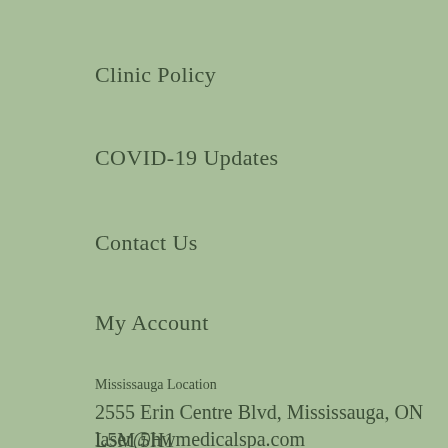Clinic Policy
COVID-19 Updates
Contact Us
My Account
Mississauga Location
2555 Erin Centre Blvd, Mississauga, ON L5M 5H1
laser@hwmedicalspa.com